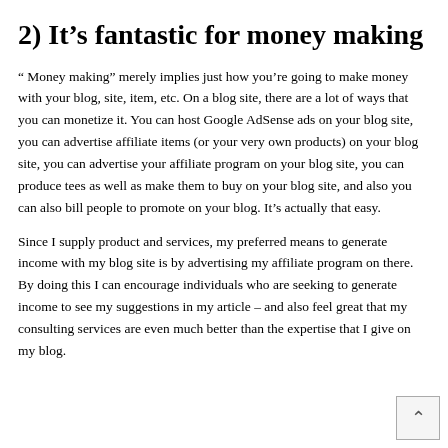2) It’s fantastic for money making
“ Money making” merely implies just how you’re going to make money with your blog, site, item, etc. On a blog site, there are a lot of ways that you can monetize it. You can host Google AdSense ads on your blog site, you can advertise affiliate items (or your very own products) on your blog site, you can advertise your affiliate program on your blog site, you can produce tees as well as make them to buy on your blog site, and also you can also bill people to promote on your blog. It’s actually that easy.
Since I supply product and services, my preferred means to generate income with my blog site is by advertising my affiliate program on there. By doing this I can encourage individuals who are seeking to generate income to see my suggestions in my article – and also feel great that my consulting services are even much better than the expertise that I give on my blog.